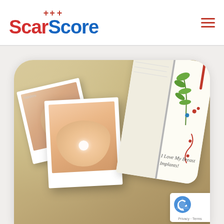ScarScore
[Figure (photo): ScarScore app screenshot showing polaroid photos of breast implants on a sandy background alongside a journal titled 'I Love My Breast Implants!']